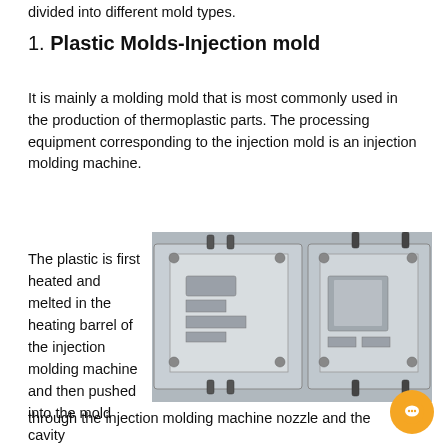divided into different mold types.
1. Plastic Molds-Injection mold
It is mainly a molding mold that is most commonly used in the production of thermoplastic parts. The processing equipment corresponding to the injection mold is an injection molding machine.
The plastic is first heated and melted in the heating barrel of the injection molding machine and then pushed into the mold cavity through the injection molding machine nozzle and the
[Figure (photo): Two injection mold halves made of metal (steel), shown side by side, with ejector pins, mold cavities, runner systems, and guide pillars visible.]